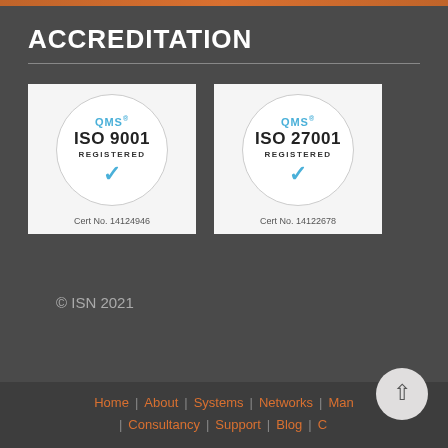ACCREDITATION
[Figure (logo): QMS ISO 9001 Registered certification badge, circular logo, Cert No. 14124946]
[Figure (logo): QMS ISO 27001 Registered certification badge, circular logo, Cert No. 14122678]
© ISN 2021
Home | About | Systems | Networks | Management | Consultancy | Support | Blog | Contact